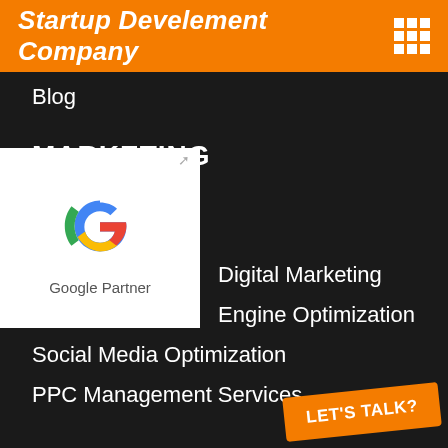Startup Develement Company
Blog
MARKETING
[Figure (logo): Google Partner badge with Google G logo and text 'Google Partner']
Digital Marketing
Search Engine Optimization
Social Media Optimization
PPC Management Services
Social Media Marketing
Brand Management Services
Facebook Ads Services
Google Ads Services
Reputation Management
Content Marketing
DEVELOPMENT
LET'S TALK?